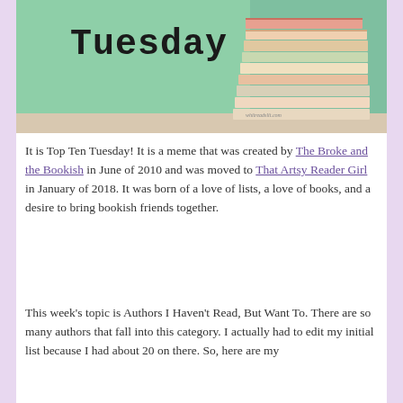[Figure (photo): Photo of a stack of books on a table in front of a green chalkboard with the word 'Tuesday' written in large typewriter font. The website 'whitreadslit.com' is visible on the spine of a book.]
It is Top Ten Tuesday! It is a meme that was created by The Broke and the Bookish in June of 2010 and was moved to That Artsy Reader Girl in January of 2018. It was born of a love of lists, a love of books, and a desire to bring bookish friends together.
This week's topic is Authors I Haven't Read, But Want To. There are so many authors that fall into this category. I actually had to edit my initial list because I had about 20 on there. So, here are my